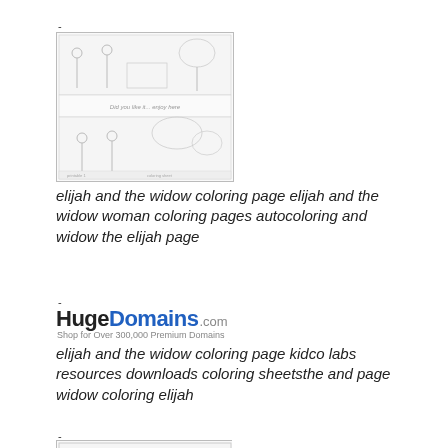.
[Figure (illustration): Thumbnail image showing coloring pages of Elijah and the widow, two scenes stacked]
elijah and the widow coloring page elijah and the widow woman coloring pages autocoloring and widow the elijah page
.
[Figure (logo): HugeDomains.com logo with tagline 'Shop for Over 300,000 Premium Domains']
elijah and the widow coloring page kidco labs resources downloads coloring sheetsthe and page widow coloring elijah
.
[Figure (illustration): Thumbnail coloring page showing Elijah and the widow woman, biblical scene with figures]